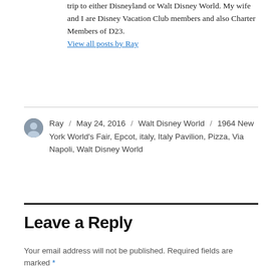trip to either Disneyland or Walt Disney World. My wife and I are Disney Vacation Club members and also Charter Members of D23.
View all posts by Ray
Ray / May 24, 2016 / Walt Disney World / 1964 New York World's Fair, Epcot, italy, Italy Pavilion, Pizza, Via Napoli, Walt Disney World
Leave a Reply
Your email address will not be published. Required fields are marked *